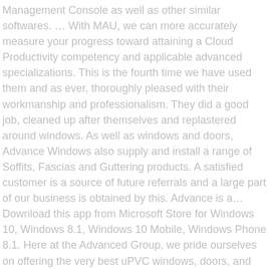Management Console as well as other similar softwares. … With MAU, we can more accurately measure your progress toward attaining a Cloud Productivity competency and applicable advanced specializations. This is the fourth time we have used them and as ever, thoroughly pleased with their workmanship and professionalism. They did a good job, cleaned up after themselves and replastered around windows. As well as windows and doors, Advance Windows also supply and install a range of Soffits, Fascias and Guttering products. A satisfied customer is a source of future referrals and a large part of our business is obtained by this. Advance is a… Download this app from Microsoft Store for Windows 10, Windows 8.1, Windows 10 Mobile, Windows Phone 8.1. Here at the Advanced Group, we pride ourselves on offering the very best uPVC windows, doors, and conservatories around. CNET "This easy-to-use and informative application cleans, configures, and optimizes your PC." or in the trade, you can be sure that we have the products and services to help you. He is an award-winning technology … Open Settings, and click/tap on the Ease of Access icon. The latest news from Windows Insider. Microsoft has a plan to try to grow the consumer side of its Windows 10 PC business. (School's, Offices, Public Buildings etc.). The following is a list of file and folder advanced permissions with a